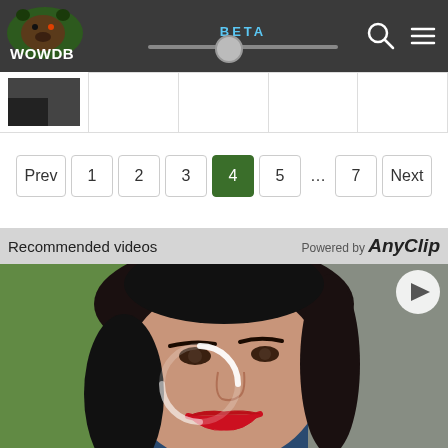[Figure (screenshot): WOWDB website navigation bar with logo, BETA label with slider, search icon, and menu icon on dark background]
[Figure (screenshot): Partial content row with small dark thumbnail image and empty table cells]
[Figure (screenshot): Pagination controls showing Prev, 1, 2, 3, 4 (active/selected in green), 5, ..., 7, Next buttons]
Recommended videos
Powered by AnyClip
[Figure (photo): Close-up photo of a woman with dark hair and red lipstick against a blurred green background, with a circular loading/play indicator overlay]